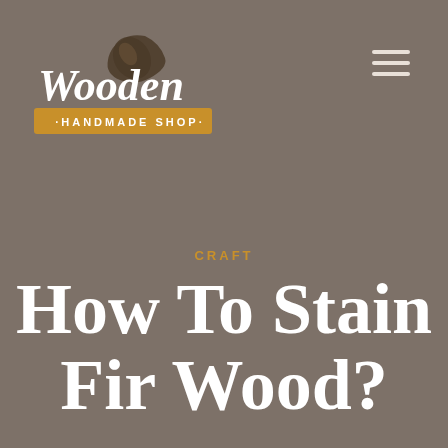[Figure (logo): Wooden Handmade Shop logo with wooden spoon icon and script text 'Wooden' above a brown banner reading '·HANDMADE SHOP·']
CRAFT
How To Stain Fir Wood?